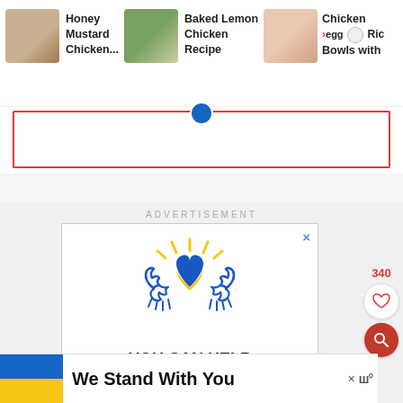[Figure (screenshot): Recipe navigation bar showing three recipe thumbnails: Honey Mustard Chicken, Baked Lemon Chicken Recipe, and Chicken Veggy Rice Bowls with]
Honey Mustard Chicken...
Baked Lemon Chicken Recipe
Chicken Veggy Rice Bowls with
ADVERTISEMENT
[Figure (illustration): Ukrainian flag heart with hands logo in blue and yellow]
YOU CAN HELP UKRAINIANS IN NEED.
Even small monetary donations can make a big difference.
340
We Stand With You